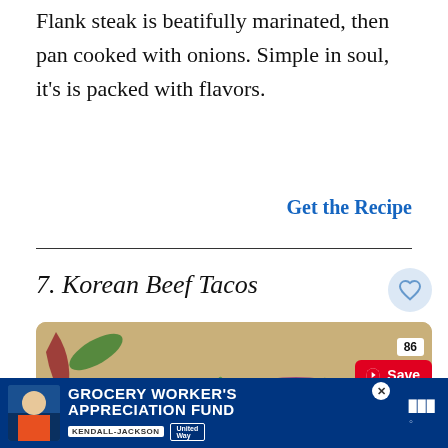Flank steak is beatifully marinated, then pan cooked with onions. Simple in soul, it's is packed with flavors.
Get the Recipe
7. Korean Beef Tacos
[Figure (photo): Korean beef tacos on tortillas topped with shredded purple cabbage, shredded carrots, green onions, and lime wedges on the side.]
86
Save
WHAT'S NEXT → Panda Express...
GROCERY WORKER'S APPRECIATION FUND